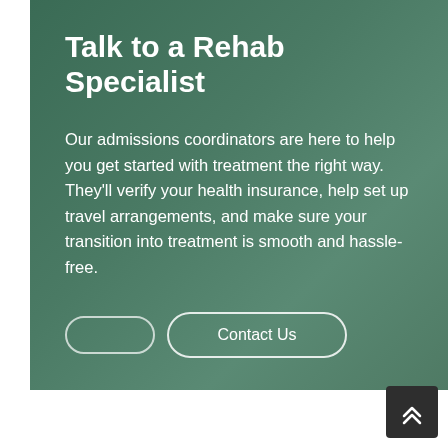Talk to a Rehab Specialist
Our admissions coordinators are here to help you get started with treatment the right way. They’ll verify your health insurance, help set up travel arrangements, and make sure your transition into treatment is smooth and hassle-free.
[Figure (other): Two pill-shaped outline buttons side by side on dark green background: a smaller empty rounded rectangle button on the left, and a larger 'Contact Us' button on the right with white text and white border.]
[Figure (other): Dark charcoal square scroll-to-top button in the bottom-right corner with double upward chevron arrows in white.]